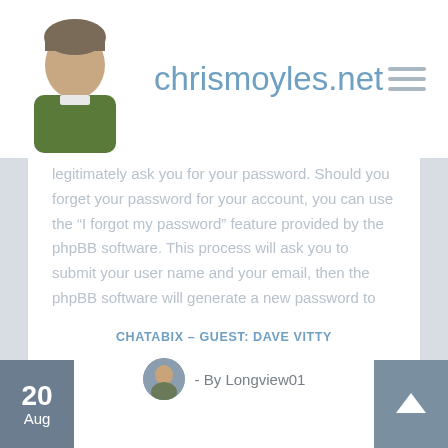chrismoyles.net
legitimately ask you for your password. Should you forget your password for your account, you can use the “I forgot my password” feature provided by the phpBB software. This process will ask you to submit your user name and your email, then the phpBB software will generate a new password to reclaim your account.
Back to login screen
CHATABIX – GUEST: DAVE VITTY
- By Longview01